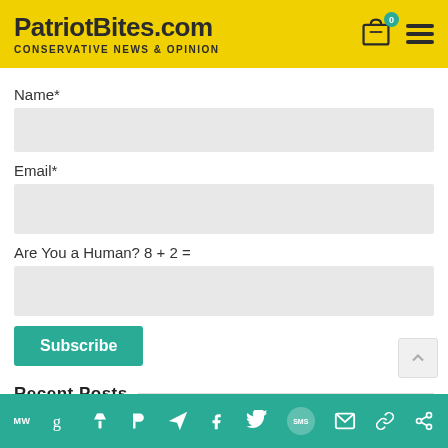PatriotBites.com — CONSERVATIVE NEWS & OPINION
Name*
Email*
Are You a Human? 8 + 2 =
Subscribe
Recent Posts
MW | g | i | P | send | f | Twitter | SMS | mail | link | share